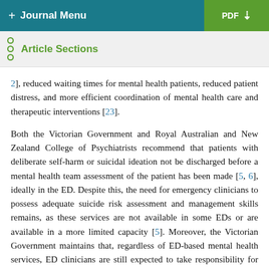+ Journal Menu  |  PDF ↓
Article Sections
2], reduced waiting times for mental health patients, reduced patient distress, and more efficient coordination of mental health care and therapeutic interventions [23].
Both the Victorian Government and Royal Australian and New Zealand College of Psychiatrists recommend that patients with deliberate self-harm or suicidal ideation not be discharged before a mental health team assessment of the patient has been made [5, 6], ideally in the ED. Despite this, the need for emergency clinicians to possess adequate suicide risk assessment and management skills remains, as these services are not available in some EDs or are available in a more limited capacity [5]. Moreover, the Victorian Government maintains that, regardless of ED-based mental health services, ED clinicians are still expected to take responsibility for and possess skills to appropriately assess and manage mental health-related ED presentations [5].
The next paragraph continues...